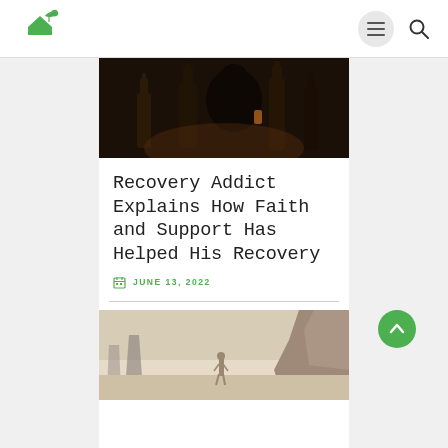Navigation bar with logo and menu/search icons
[Figure (photo): A silhouette of a person bending over among several liquor/wine bottles on a dark background]
Recovery Addict Explains How Faith and Support Has Helped His Recovery
JUNE 13, 2022
[Figure (photo): A person walking on a beach with dramatic rocky cliffs and misty scenery]